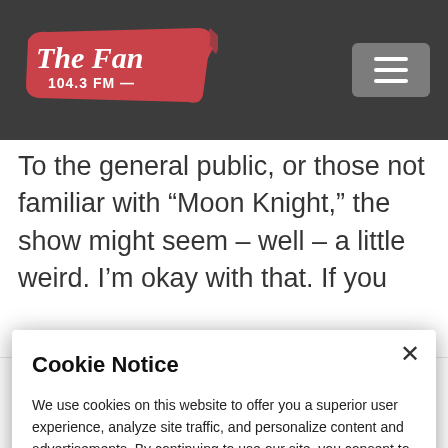[Figure (logo): The Fan 104.3 FM radio station logo in red script with FM antenna graphic on dark background navigation bar]
To the general public, or those not familiar with “Moon Knight,” the show might seem – well – a little weird. I’m okay with that. If you
Cookie Notice
We use cookies on this website to offer you a superior user experience, analyze site traffic, and personalize content and advertisements. By continuing to use our site, you consent to our use of cookies. Please visit our Privacy Policy for more information.
Continue
@Jacobtermann: “Moon Knight” is very weird. That’s a good thing